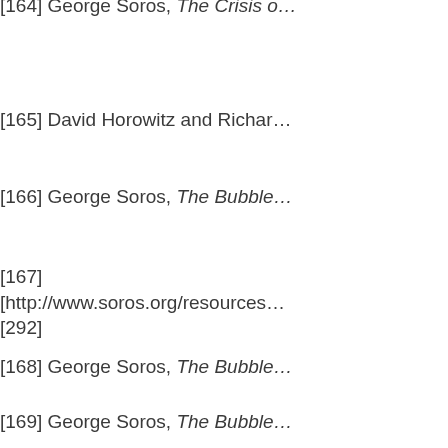[164] George Soros, The Crisis o…
[165] David Horowitz and Richar…
[166] George Soros, The Bubble…
[167]
[http://www.soros.org/resources…
[292]
[168] George Soros, The Bubble…
[169] George Soros, The Bubble…
[170] George Soros, George Sor…